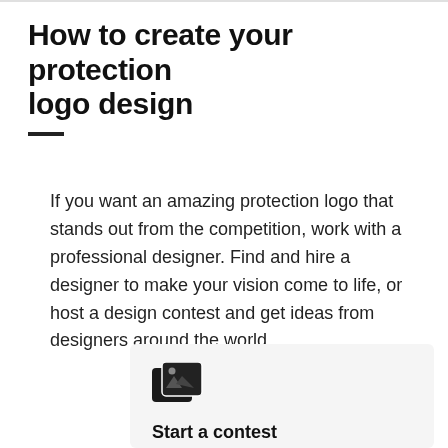How to create your protection logo design
If you want an amazing protection logo that stands out from the competition, work with a professional designer. Find and hire a designer to make your vision come to life, or host a design contest and get ideas from designers around the world.
Start a contest
Designers from around the world...